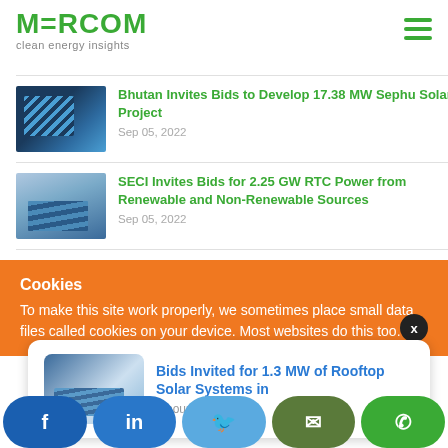MERCOM clean energy insights
Bhutan Invites Bids to Develop 17.38 MW Sephu Solar Project — Sep 05, 2022
SECI Invites Bids for 2.25 GW RTC Power from Renewable and Non-Renewable Sources — Sep 05, 2022
Captive Generator's Plea to Carry Forward Banked Solar Energy…
Cookies
To make this site work properly, we sometimes place small data files called cookies on your device. Most websites do this too.
Bids Invited for 1.3 MW of Rooftop Solar Systems in
3 hours ago